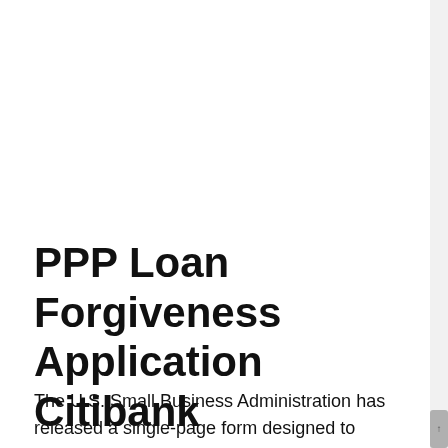PPP Loan Forgiveness Application Citibank
The U.S. Small Business Administration has released a single-page form designed to make it easier for applicants to complete the process of applying for forgiveness of Paycheck